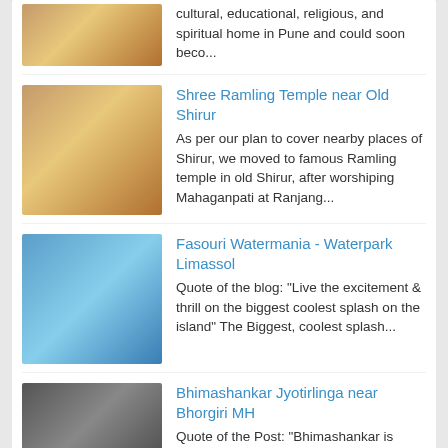cultural, educational, religious, and spiritual home in Pune and could soon beco…
Shree Ramling Temple near Old Shirur
As per our plan to cover nearby places of Shirur, we moved to famous Ramling temple in old Shirur, after worshiping Mahaganpati at Ranjang…
Fasouri Watermania - Waterpark Limassol
Quote of the blog: "Live the excitement & thrill on the biggest coolest splash on the island" The Biggest, coolest splash…
Bhimashankar Jyotirlinga near Bhorgiri MH
Quote of the Post: "Bhimashankar is definitely God's unique creation worth visiting for jungle lovers, trekkers as well as devote…
MET - My Europe Tours
Vilnius, Lithuania
Colors of Vilnius during Winters